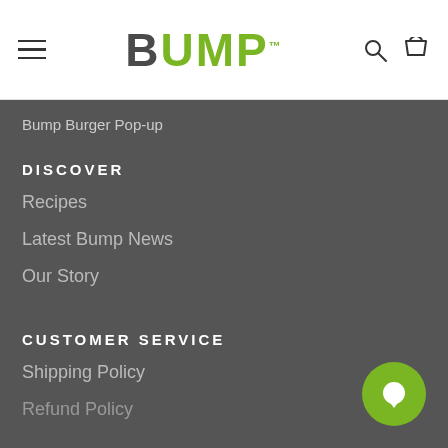BUMP
Bump Burger Pop-up
DISCOVER
Recipes
Latest Bump News
Our Story
CUSTOMER SERVICE
Shipping Policy
Refund Policy